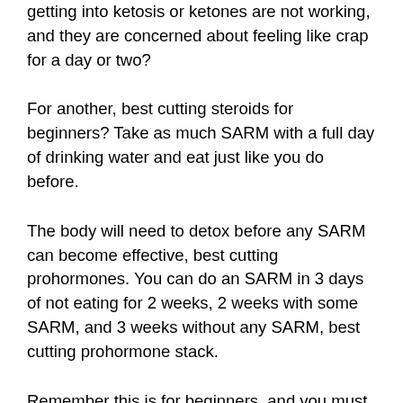getting into ketosis or ketones are not working, and they are concerned about feeling like crap for a day or two?
For another, best cutting steroids for beginners? Take as much SARM with a full day of drinking water and eat just like you do before.
The body will need to detox before any SARM can become effective, best cutting prohormones. You can do an SARM in 3 days of not eating for 2 weeks, 2 weeks with some SARM, and 3 weeks without any SARM, best cutting prohormone stack.
Remember this is for beginners, and you must be careful, because some SARMs are dangerous, can you stack sarms with testosterone.